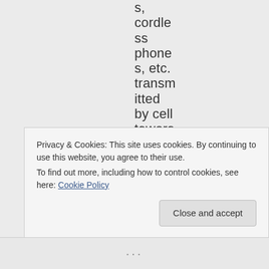s, cordless phones, etc. transmitted by cell towers, satellit
Privacy & Cookies: This site uses cookies. By continuing to use this website, you agree to their use.
To find out more, including how to control cookies, see here: Cookie Policy
Close and accept